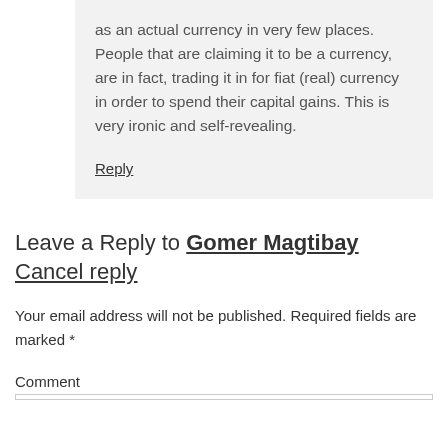as an actual currency in very few places.  People that are claiming it to be a currency, are in fact, trading it in for fiat (real) currency in order to spend their capital gains.  This is very ironic and self-revealing.
Reply
Leave a Reply to Gomer Magtibay Cancel reply
Your email address will not be published. Required fields are marked *
Comment